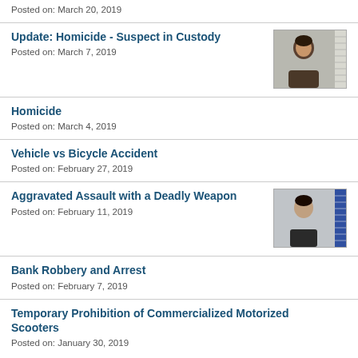Posted on: March 20, 2019
Update: Homicide - Suspect in Custody
Posted on: March 7, 2019
[Figure (photo): Mugshot of suspect, male, dark hair]
Homicide
Posted on: March 4, 2019
Vehicle vs Bicycle Accident
Posted on: February 27, 2019
Aggravated Assault with a Deadly Weapon
Posted on: February 11, 2019
[Figure (photo): Mugshot of suspect, male, dark hair, jacket]
Bank Robbery and Arrest
Posted on: February 7, 2019
Temporary Prohibition of Commercialized Motorized Scooters
Posted on: January 30, 2019